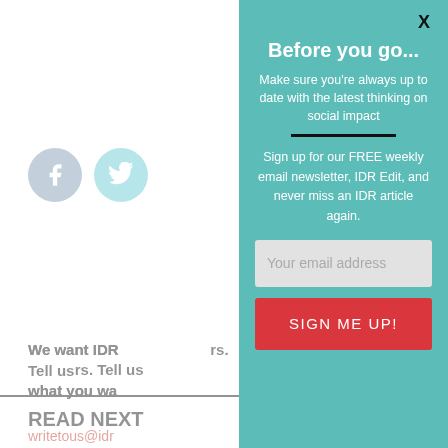[Figure (other): Social media icon circles: Facebook (blue-grey) and Twitter (teal)]
We want IDR to be for readers. Tell us what you want. writetous@idr...
COMMENTS
READ NEXT
Before you go...
Make sure you're always up to date with the latest thinking on social impact
Sign up for our FREE weekly email newsletter, IDR Edit, and never miss an IDR article again.
Your email address
SIGN ME UP!